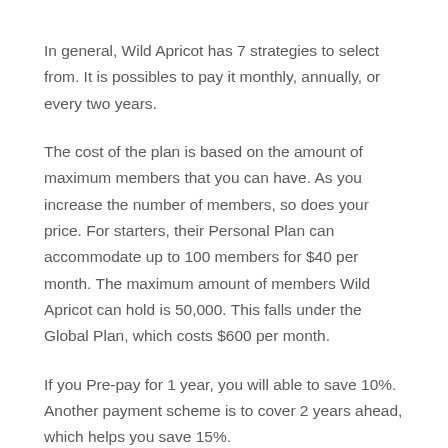In general, Wild Apricot has 7 strategies to select from. It is possibles to pay it monthly, annually, or every two years.
The cost of the plan is based on the amount of maximum members that you can have. As you increase the number of members, so does your price. For starters, their Personal Plan can accommodate up to 100 members for $40 per month. The maximum amount of members Wild Apricot can hold is 50,000. This falls under the Global Plan, which costs $600 per month.
If you Pre-pay for 1 year, you will able to save 10%. Another payment scheme is to cover 2 years ahead, which helps you save 15%.
They offer competitive prices considering that these include email management and website hosting. They also provide a free trial for their paid plans.